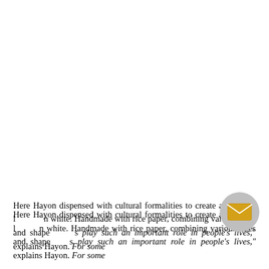Here Hayon dispensed with cultural formalities to create a series of lamps in white. Handmade with rice paper, combining various sizes and shapes… play such an important role in people's lives," explains Hayon. For some
[Figure (illustration): A circular badge/button with a grey background containing a yellow/gold envelope icon (email icon), positioned in the lower right area overlapping the text.]